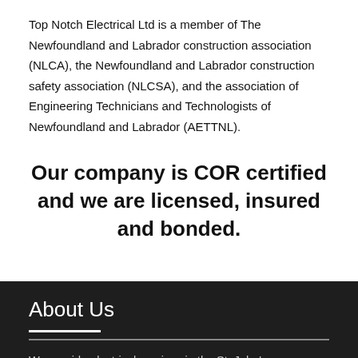Top Notch Electrical Ltd is a member of The Newfoundland and Labrador construction association (NLCA), the Newfoundland and Labrador construction safety association (NLCSA), and the association of Engineering Technicians and Technologists of Newfoundland and Labrador (AETTNL).
Our company is COR certified and we are licensed, insured and bonded.
About Us
We provide electrical services in the St. John's area. Contact us for a